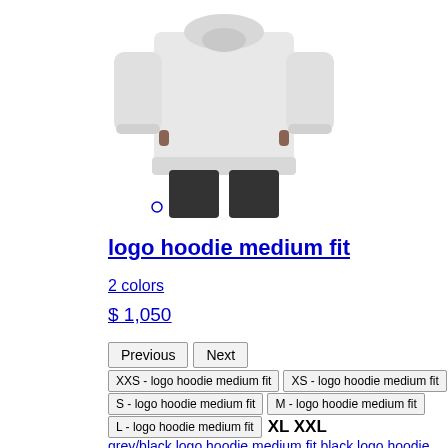[Figure (photo): Person wearing a grey/white hoodie and dark pants, cropped at torso level]
logo hoodie medium fit
2 colors
$ 1,050
Previous  Next
XXS - logo hoodie medium fit   XS - logo hoodie medium fit   S - logo hoodie medium fit   M - logo hoodie medium fit   L - logo hoodie medium fit   XL XXL
grey/black logo hoodie medium fit black logo hoodie medium fit
[Figure (photo): Bottom portion of a product image showing a beige/tan garment]